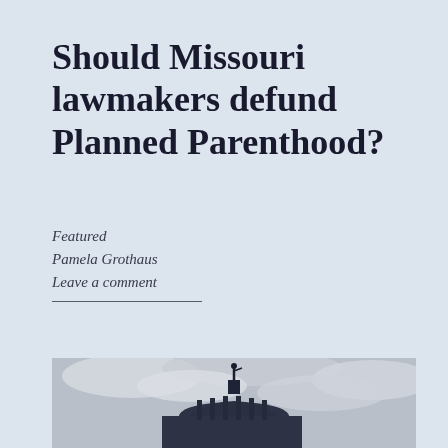Should Missouri lawmakers defund Planned Parenthood?
Featured
Pamela Grothaus
Leave a comment
[Figure (photo): Silhouette of a government building dome topped with a statue of a figure, against a cloudy sky background. The dome shows classical architectural columns.]